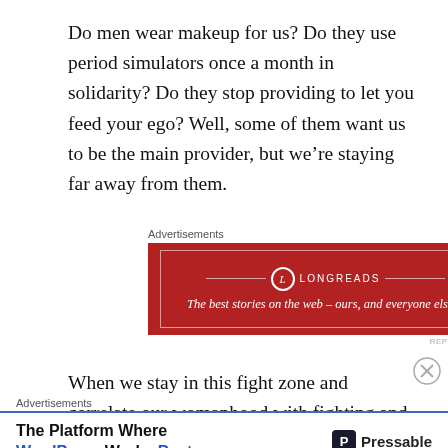Do men wear makeup for us? Do they use period simulators once a month in solidarity? Do they stop providing to let you feed your ego? Well, some of them want us to be the main provider, but we're staying far away from them.
[Figure (infographic): Longreads advertisement banner with red background. Text reads: LONGREADS — The best stories on the web – ours, and everyone else's.]
When we stay in this fight zone and correlate our womanhood with fighting and breaking barriers, we don't rest. This seeps into every fibre of our
[Figure (infographic): Pressable advertisement banner. Text reads: The Platform Where WordPress Works Best, with Pressable logo on the right.]